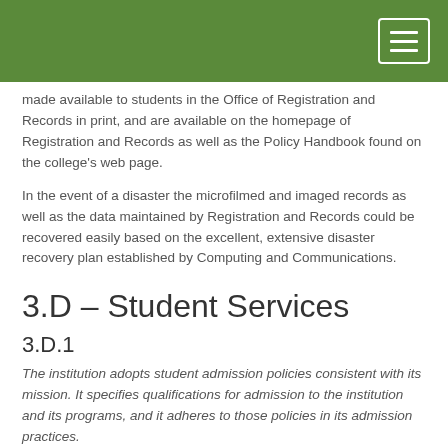made available to students in the Office of Registration and Records in print, and are available on the homepage of Registration and Records as well as the Policy Handbook found on the college's web page.
In the event of a disaster the microfilmed and imaged records as well as the data maintained by Registration and Records could be recovered easily based on the excellent, extensive disaster recovery plan established by Computing and Communications.
3.D – Student Services
3.D.1
The institution adopts student admission policies consistent with its mission. It specifies qualifications for admission to the institution and its programs, and it adheres to those policies in its admission practices.